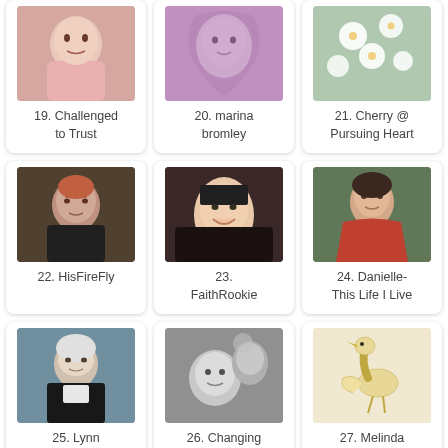[Figure (photo): Baby in pink clothing]
19. Challenged to Trust
[Figure (photo): Woman with purple/pink flower or scarf]
20. marina bromley
[Figure (photo): White cherry blossoms]
21. Cherry @ Pursuing Heart
[Figure (photo): Older woman with red hair and glasses]
22. HisFireFly
[Figure (photo): Young Asian woman smiling]
23. FaithRookie
[Figure (photo): Woman with red scarf outdoors]
24. Danielle- This Life I Live
[Figure (photo): Elderly woman in black jacket]
25. Lynn Mosher
[Figure (photo): Black and white photo of baby being held]
26. Changing Lanes
[Figure (photo): Cartoon bird illustration]
27. Melinda
[Figure (photo): Close-up of child's face]
[Figure (photo): Man in white shirt outdoors]